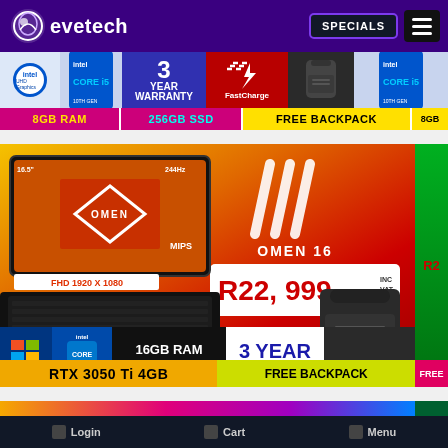[Figure (screenshot): Evetech e-commerce website screenshot showing navigation bar with logo, SPECIALS button and hamburger menu on purple background]
[Figure (infographic): Product feature strip showing Intel UHD, Core i5 10th Gen, 3 Year Warranty, FastCharge logo, backpack image, 8GB RAM, 256GB SSD, FREE BACKPACK labels]
[Figure (infographic): HP OMEN 16 laptop product banner showing laptop image with FHD 1920 X 1080, OMEN branding, MIPS label, price R22,999 INC VAT, 16GB RAM, 512GB SSD, 3 YEAR WARRANTY, RTX 3050 Ti 4GB, FREE BACKPACK, Windows 11 Pro, Intel Core i5]
[Figure (infographic): Partial colorful banner at bottom of page, partially visible]
Login   Cart   Menu